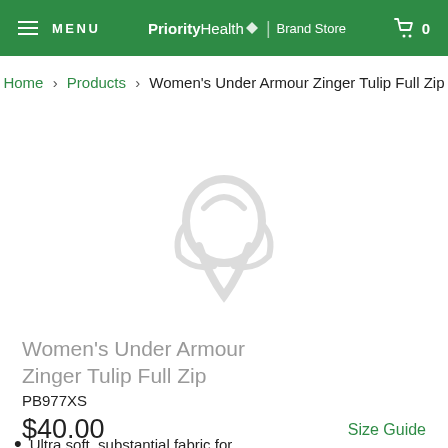MENU | PriorityHealth Brand Store | Cart 0
Home › Products › Women's Under Armour Zinger Tulip Full Zip
[Figure (photo): Faded/watermark product image placeholder showing Under Armour logo]
Women's Under Armour Zinger Tulip Full Zip
PB977XS
$40.00
Size Guide
Ultra soft, substantial fabric for